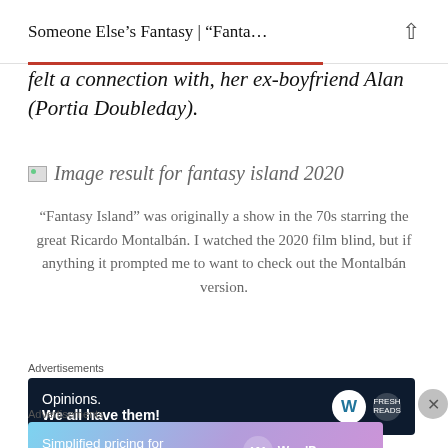Someone Else's Fantasy | “Fanta…
felt a connection with, her ex-boyfriend Alan (Portia Doubleday).
[Figure (photo): Broken image placeholder labeled 'Image result for fantasy island 2020']
“Fantasy Island” was originally a show in the 70s starring the great Ricardo Montalbán. I watched the 2020 film blind, but if anything it prompted me to want to check out the Montalbán version.
Advertisements
[Figure (screenshot): WordPress advertisement banner: Opinions. We all have them!]
Advertisements
[Figure (screenshot): WordPress.com advertisement: Simplified pricing for everything you need.]